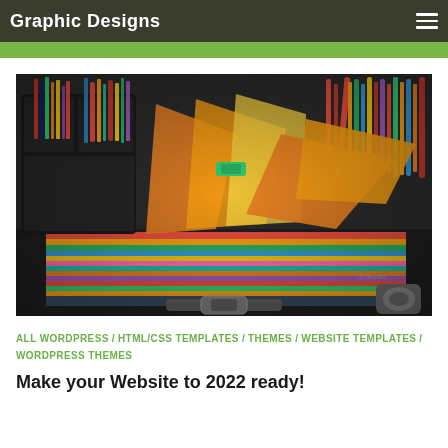Graphic Designs
[Figure (photo): A briefcase/toolbox open and filled with colorful graphic design tools including pencils, markers, pens, scissors, colored paper, sticky notes, and other stationery items arranged in a creative, colorful display.]
ALL WORDPRESS / HTML/CSS TEMPLATES / THEMES / WEBSITE TEMPLATES / WORDPRESS THEMES
Make your Website to 2022 ready!